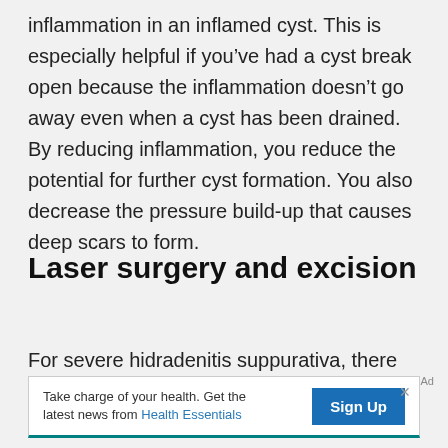inflammation in an inflamed cyst. This is especially helpful if you've had a cyst break open because the inflammation doesn't go away even when a cyst has been drained. By reducing inflammation, you reduce the potential for further cyst formation. You also decrease the pressure build-up that causes deep scars to form.
Laser surgery and excision
For severe hidradenitis suppurativa, there are
Ad
[Figure (other): Advertisement banner: 'Take charge of your health. Get the latest news from Health Essentials' with a Sign Up button]